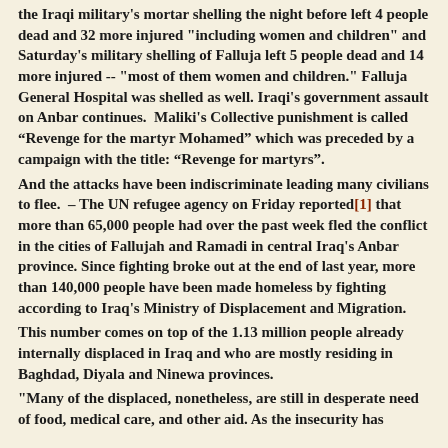the Iraqi military's mortar shelling the night before left 4 people dead and 32 more injured "including women and children" and Saturday's military shelling of Falluja left 5 people dead and 14 more injured -- "most of them women and children." Falluja General Hospital was shelled as well. Iraqi's government assault on Anbar continues.  Maliki's Collective punishment is called “Revenge for the martyr Mohamed” which was preceded by a campaign with the title: “Revenge for martyrs”.
And the attacks have been indiscriminate leading many civilians to flee.  – The UN refugee agency on Friday reported[1] that more than 65,000 people had over the past week fled the conflict in the cities of Fallujah and Ramadi in central Iraq's Anbar province. Since fighting broke out at the end of last year, more than 140,000 people have been made homeless by fighting according to Iraq's Ministry of Displacement and Migration.
This number comes on top of the 1.13 million people already internally displaced in Iraq and who are mostly residing in Baghdad, Diyala and Ninewa provinces.
"Many of the displaced, nonetheless, are still in desperate need of food, medical care, and other aid. As the insecurity has